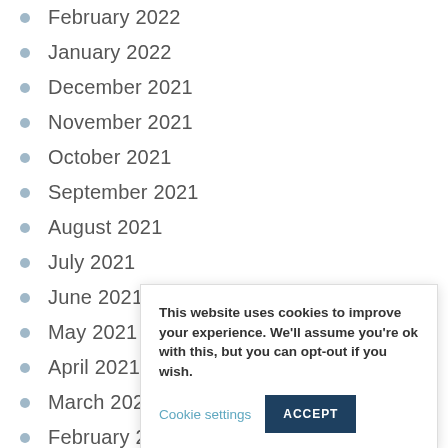February 2022
January 2022
December 2021
November 2021
October 2021
September 2021
August 2021
July 2021
June 2021
May 2021
April 2021
March 2021
February 2021
January 2021
December 2020
This website uses cookies to improve your experience. We'll assume you're ok with this, but you can opt-out if you wish. Cookie settings ACCEPT